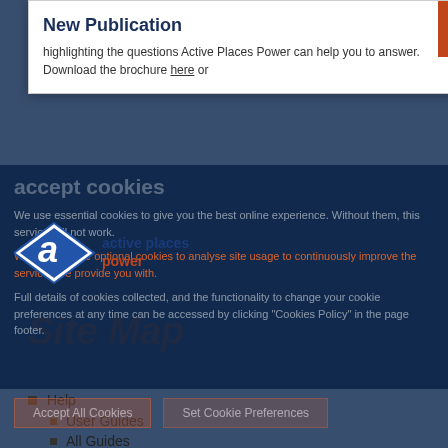[Figure (logo): Active Places Power logo — stylized letter 'a' in blue diamond shape with 'active places power' text in blue and orange]
New Publication
highlighting the questions Active Places Power can help you to answer. Download the brochure here or
OK
accept cookies
We use essential cookies to give you the best online experience. Without them, this service will not work.
We'd like to use optional cookies to analyse site usage to continuously improve the services we provide you with.
Full details of cookies collected, and the functionality to change your cookie preferences at any time can be accessed by clicking "Cookies Policy" in the page footer.
Accept All Cookies
Set Cookie Preferences
Site Map
Help
User Guides
All Guides